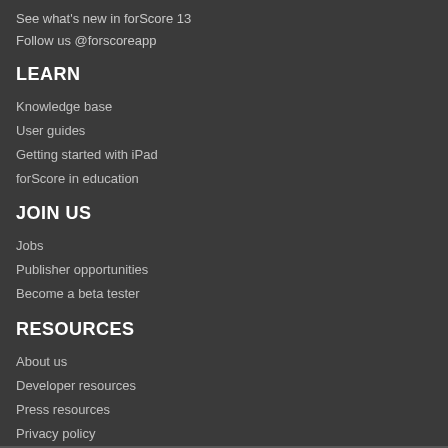See what's new in forScore 13
Follow us @forscoreapp
LEARN
Knowledge base
User guides
Getting started with iPad
forScore in education
JOIN US
Jobs
Publisher opportunities
Become a beta tester
RESOURCES
About us
Developer resources
Press resources
Privacy policy